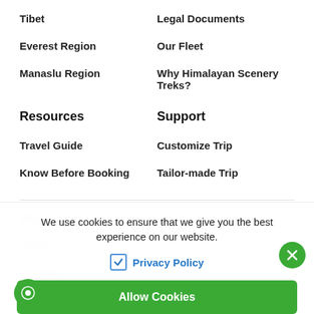Tibet
Legal Documents
Everest Region
Our Fleet
Manaslu Region
Why Himalayan Scenery Treks?
Resources
Support
Travel Guide
Customize Trip
Know Before Booking
Tailor-made Trip
Blog & News
Videos
Reviews
We use cookies to ensure that we give you the best experience on our website.
Privacy Policy
Allow Cookies